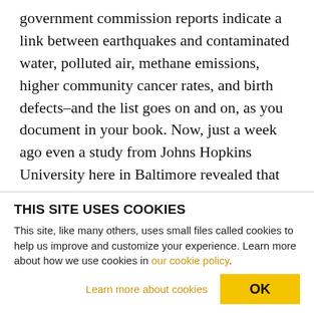government commission reports indicate a link between earthquakes and contaminated water, polluted air, methane emissions, higher community cancer rates, and birth defects–and the list goes on and on, as you document in your book. Now, just a week ago even a study from Johns Hopkins University here in Baltimore revealed that people living near fracking wells had a higher risk of asthma attacks. How on earth has this gone on for so long without consequences to these corporations? HAUTER: Well, it really speaks to the power of the
THIS SITE USES COOKIES
This site, like many others, uses small files called cookies to help us improve and customize your experience. Learn more about how we use cookies in our cookie policy.
Learn more about cookies
OK